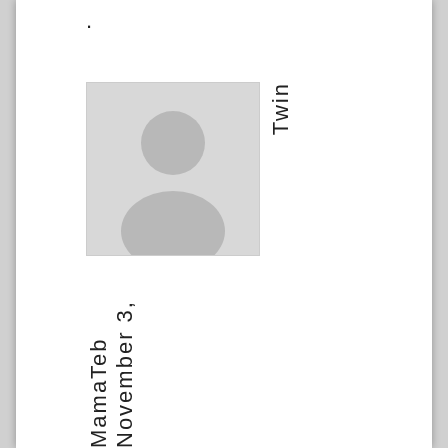.
[Figure (illustration): Placeholder avatar image: grey square with a white generic person silhouette (head and shoulders)]
Twin
MamaTeb November 3,